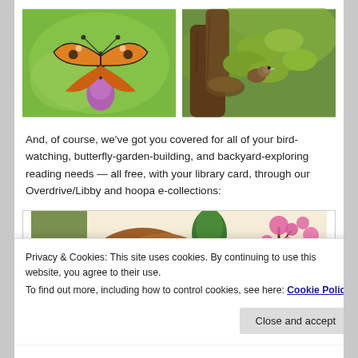[Figure (photo): Painted lady butterfly resting on a purple thistle flower against a green background]
[Figure (photo): Bird (possibly a warbler or thrush) sitting in a tree with green leaves and bark]
And, of course, we've got you covered for all of your bird-watching, butterfly-garden-building, and backyard-exploring reading needs — all free, with your library card, through our Overdrive/Libby and hoopa e-collections:
[Figure (illustration): Illustrated book cover or preview showing stylized trees and plants in autumn colors with a squirrel]
Privacy & Cookies: This site uses cookies. By continuing to use this website, you agree to their use.
To find out more, including how to control cookies, see here: Cookie Policy
Close and accept